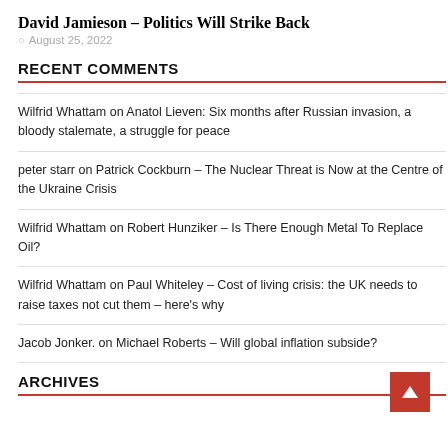David Jamieson – Politics Will Strike Back
August 25, 2022
RECENT COMMENTS
Wilfrid Whattam on Anatol Lieven: Six months after Russian invasion, a bloody stalemate, a struggle for peace
peter starr on Patrick Cockburn – The Nuclear Threat is Now at the Centre of the Ukraine Crisis
Wilfrid Whattam on Robert Hunziker – Is There Enough Metal To Replace Oil?
Wilfrid Whattam on Paul Whiteley – Cost of living crisis: the UK needs to raise taxes not cut them – here's why
Jacob Jonker. on Michael Roberts – Will global inflation subside?
ARCHIVES